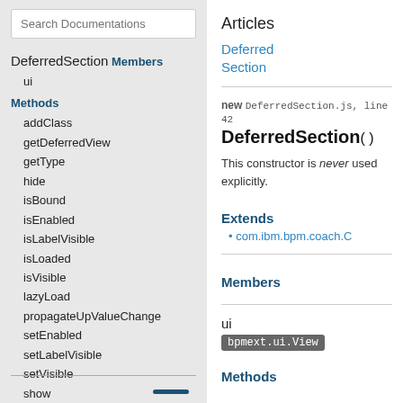Search Documentations
DeferredSection
Members
ui
Methods
addClass
getDeferredView
getType
hide
isBound
isEnabled
isLabelVisible
isLoaded
isVisible
lazyLoad
propagateUpValueChange
setEnabled
setLabelVisible
setVisible
show
triggerFormulaUpdates
Articles
Deferred Section
new DeferredSection.js, line 42
DeferredSection()
This constructor is never used explicitly.
Extends
com.ibm.bpm.coach.C
Members
ui
bpmext.ui.View
Methods